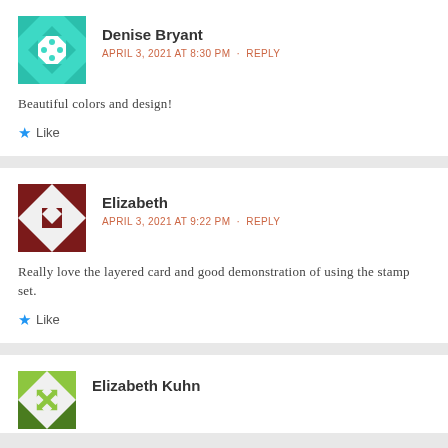[Figure (illustration): Teal geometric quilt-pattern avatar for Denise Bryant]
Denise Bryant
APRIL 3, 2021 AT 8:30 PM · REPLY
Beautiful colors and design!
Like
[Figure (illustration): Dark red/brown geometric quilt-pattern avatar for Elizabeth]
Elizabeth
APRIL 3, 2021 AT 9:22 PM · REPLY
Really love the layered card and good demonstration of using the stamp set.
Like
[Figure (illustration): Green geometric quilt-pattern avatar for Elizabeth Kuhn]
Elizabeth Kuhn